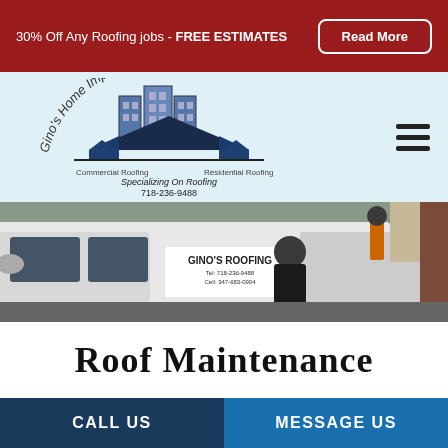30% Off Any Roofing jobs - FREE ESTIMATES  Read More
[Figure (logo): Gino's Home Improvement logo with buildings and roof graphic, text: Commercial Roofing, Residential Roofing, Specializing On Roofing, 718-236-9488]
[Figure (photo): Man in black shirt standing in front of white Gino's Roofing truck, worker in background on roof]
Roof Maintenance
CALL US
MESSAGE US